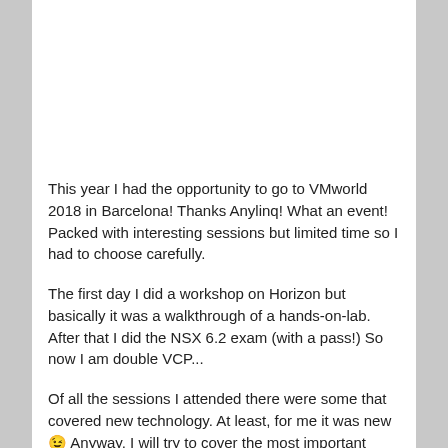This year I had the opportunity to go to VMworld 2018 in Barcelona! Thanks Anylinq! What an event! Packed with interesting sessions but limited time so I had to choose carefully.
The first day I did a workshop on Horizon but basically it was a walkthrough of a hands-on-lab. After that I did the NSX 6.2 exam (with a pass!) So now I am double VCP...
Of all the sessions I attended there were some that covered new technology. At least, for me it was new 😉 Anyway, I will try to cover the most important ones.
END2713BE – Co-manage Workspace